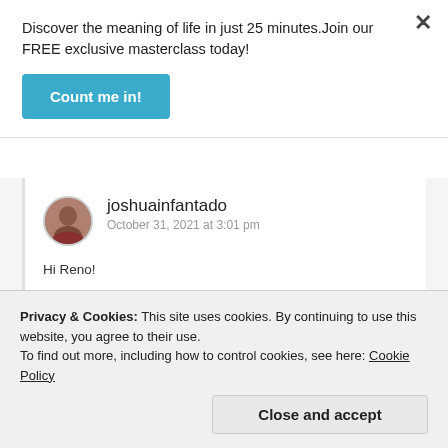Discover the meaning of life in just 25 minutes.Join our FREE exclusive masterclass today!
Count me in!
joshuainfantado
October 31, 2021 at 3:01 pm
Hi Reno!
The statement “I and Father are one” is a statement that testifies that unity
Privacy & Cookies: This site uses cookies. By continuing to use this website, you agree to their use.
To find out more, including how to control cookies, see here: Cookie Policy
Close and accept
marriage. Does that mean that the